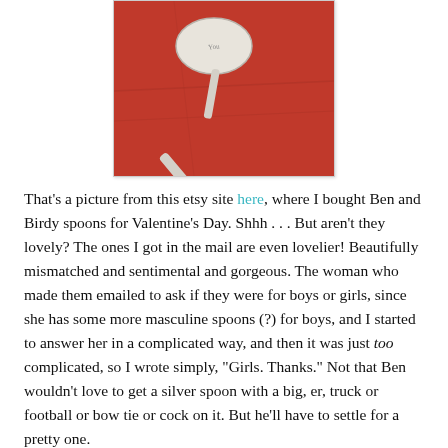[Figure (photo): A silver spoon with engraving resting on red fabric, from an Etsy shop.]
That's a picture from this etsy site here, where I bought Ben and Birdy spoons for Valentine's Day. Shhh . . . But aren't they lovely? The ones I got in the mail are even lovelier! Beautifully mismatched and sentimental and gorgeous. The woman who made them emailed to ask if they were for boys or girls, since she has some more masculine spoons (?) for boys, and I started to answer her in a complicated way, and then it was just too complicated, so I wrote simply, "Girls. Thanks." Not that Ben wouldn't love to get a silver spoon with a big, er, truck or football or bow tie or cock on it. But he'll have to settle for a pretty one.
What else? Let's see. Will you check out my recipes on family.com? Brownies here, and Ben learning how to make a